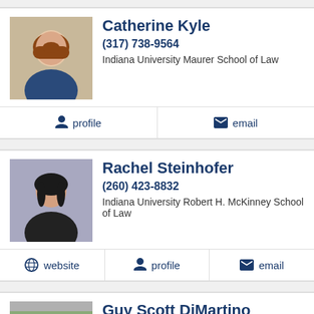[Figure (photo): Headshot photo of Catherine Kyle, a woman with short reddish-brown hair wearing a dark jacket]
Catherine Kyle
(317) 738-9564
Indiana University Maurer School of Law
profile
email
[Figure (photo): Headshot photo of Rachel Steinhofer, a woman with dark hair wearing a dark jacket]
Rachel Steinhofer
(260) 423-8832
Indiana University Robert H. McKinney School of Law
website
profile
email
[Figure (photo): Headshot photo of Guy Scott DiMartino, a middle-aged man with short dark hair wearing a dark suit]
Guy Scott DiMartino
(219) 690-8997